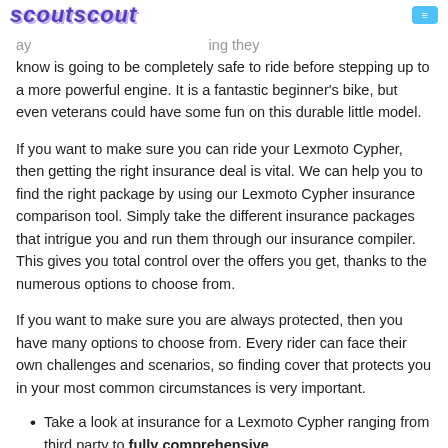scoutscout
know is going to be completely safe to ride before stepping up to a more powerful engine. It is a fantastic beginner's bike, but even veterans could have some fun on this durable little model.
If you want to make sure you can ride your Lexmoto Cypher, then getting the right insurance deal is vital. We can help you to find the right package by using our Lexmoto Cypher insurance comparison tool. Simply take the different insurance packages that intrigue you and run them through our insurance compiler. This gives you total control over the offers you get, thanks to the numerous options to choose from.
If you want to make sure you are always protected, then you have many options to choose from. Every rider can face their own challenges and scenarios, so finding cover that protects you in your most common circumstances is very important.
Take a look at insurance for a Lexmoto Cypher ranging from third party to fully comprehensive.